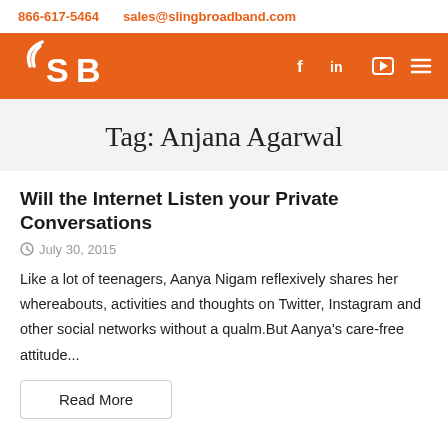866-617-5464   sales@slingbroadband.com
[Figure (logo): Sling Broadband logo (SB letters in white on orange background with signal waves) with social media icons: f, in, play button, menu hamburger on orange nav bar]
Tag: Anjana Agarwal
Will the Internet Listen your Private Conversations
July 30, 2015
Like a lot of teenagers, Aanya Nigam reflexively shares her whereabouts, activities and thoughts on Twitter, Instagram and other social networks without a qualm.But Aanya's care-free attitude...
Read More